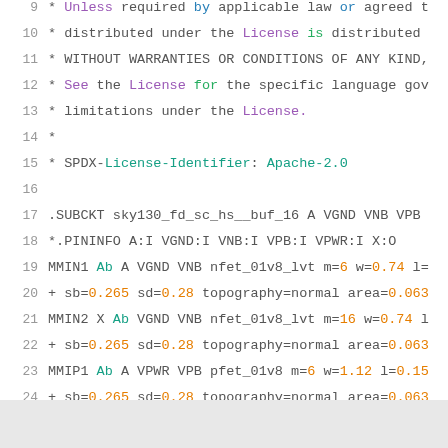Code listing: sky130_fd_sc_hs__buf_16 SPICE subcircuit with Apache-2.0 license header, lines 9-27
[Figure (screenshot): Syntax-highlighted SPICE/Netlist source code with line numbers 9-27. Lines 9-15 contain a license comment block. Lines 17-27 contain a .SUBCKT definition for sky130_fd_sc_hs__buf_16 with PININFO and four MOSFET instantiations (MMIN1, MMIN2, MMIP1, MMIP2) and .ENDS.]